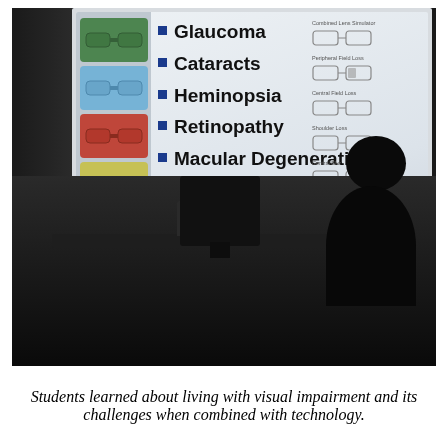[Figure (photo): A classroom presentation showing a projected slide about visual impairments. The slide lists five conditions (Glaucoma, Cataracts, Heminopsia, Retinopathy, Macular Degeneration) with colored glasses samples on the left and lens diagrams on the right. The room is dark with silhouettes of students and a computer monitor visible in the foreground.]
Students learned about living with visual impairment and its challenges when combined with technology.